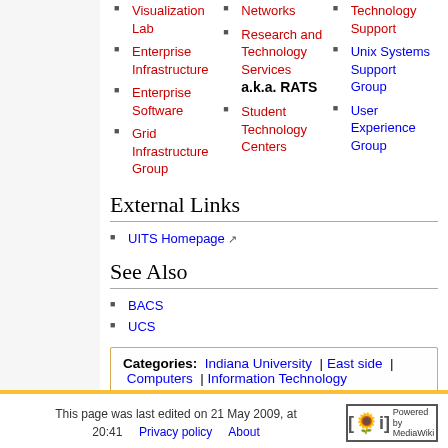Visualization Lab
Enterprise Infrastructure
Enterprise Software
Grid Infrastructure Group
Networks
Research and Technology Services a.k.a. RATS
Student Technology Centers
Technology Support
Unix Systems Support Group
User Experience Group
External Links
UITS Homepage
See Also
BACS
UCS
Categories: Indiana University | East side | Computers | Information Technology
This page was last edited on 21 May 2009, at 20:41. Privacy policy  About